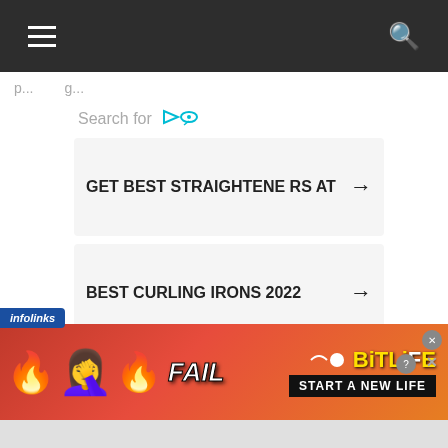[Figure (screenshot): Dark navigation bar with hamburger menu icon on left and search icon on right]
p... g...
[Figure (screenshot): Search widget with header 'Search for' and two results: 'GET BEST STRAIGHTENERS AT' and 'BEST CURLING IRONS 2022', each with arrow icons, and a third empty result]
[Figure (screenshot): Infolinks ad banner for BitLife game showing FAIL text, emoji characters, flames, and 'START A NEW LIFE' text]